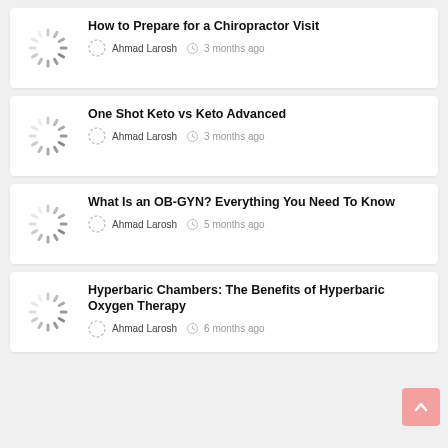How to Prepare for a Chiropractor Visit
Ahmad Larosh  3 months ago
One Shot Keto vs Keto Advanced
Ahmad Larosh  3 months ago
What Is an OB-GYN? Everything You Need To Know
Ahmad Larosh  5 months ago
Hyperbaric Chambers: The Benefits of Hyperbaric Oxygen Therapy
Ahmad Larosh  6 months ago